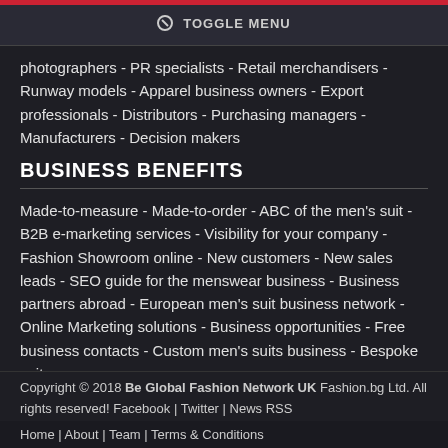TOGGLE MENU
photographers - PR specialists - Retail merchandisers - Runway models - Apparel business owners - Export professionals - Distributors - Purchasing managers - Manufacturers - Decision makers
BUSINESS BENEFITS
Made-to-measure - Made-to-order - ABC of the men's suit - B2B e-marketing services - Visibility for your company - Fashion Showroom online - New customers - New sales leads - SEO guide for the menswear business - Business partners abroad - European men's suit business network - Online Marketing solutions - Business opportunities - Free business contacts - Custom men's suits business - Bespoke suits
Copyright © 2018 Be Global Fashion Network UK Fashion.bg Ltd. All rights reserved! Facebook | Twitter | News RSS
Home | About | Team | Terms & Conditions